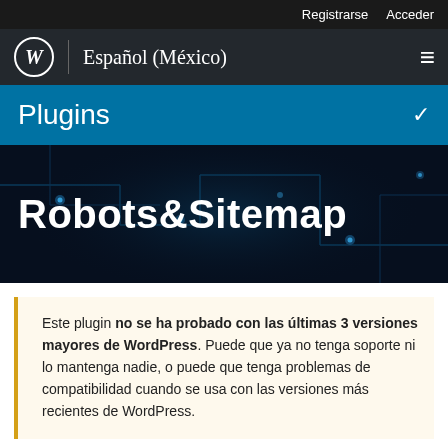Registrarse   Acceder
Español (México)
Plugins
Robots&Sitemap
Este plugin no se ha probado con las últimas 3 versiones mayores de WordPress. Puede que ya no tenga soporte ni lo mantenga nadie, o puede que tenga problemas de compatibilidad cuando se usa con las versiones más recientes de WordPress.